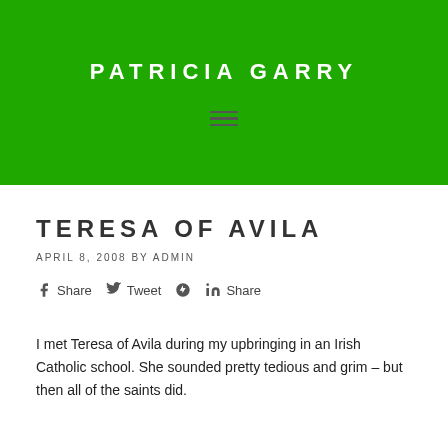PATRICIA GARRY
TERESA OF AVILA
APRIL 8, 2008 BY ADMIN
Share  Tweet  Share
I met Teresa of Avila during my upbringing in an Irish Catholic school. She sounded pretty tedious and grim – but then all of the saints did.